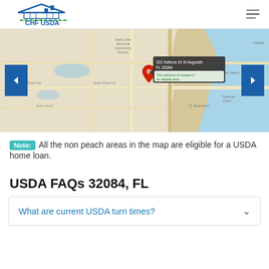CHF USDA
[Figure (map): Google-style map of St. Augustine, FL area showing USDA eligible areas. A tooltip reads '331 Keltons Dr St Augustine FL 32084' with note 'This address IS located in an eligible area...' A red pin marks the location. Navigation arrows on left and right sides.]
Note: All the non peach areas in the map are eligible for a USDA home loan.
USDA FAQs 32084, FL
What are current USDA turn times?